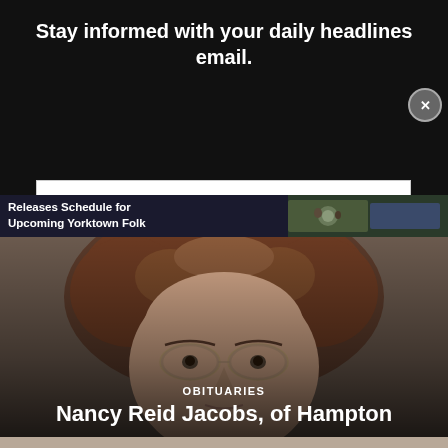Stay informed with your daily headlines email.
Enter your email
Enter
Releases Schedule for Upcoming Yorktown Folk
[Figure (photo): Close-up portrait photo of an elderly woman with curly brown hair and large round glasses, used as obituary image for Nancy Reid Jacobs]
OBITUARIES
Nancy Reid Jacobs, of Hampton